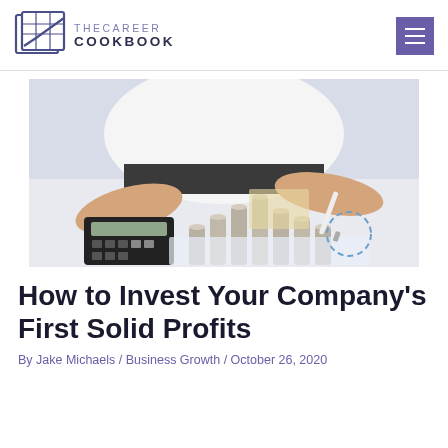[Figure (logo): The Career Cookbook logo: book icon with grid pattern and a rising line, beside the text THECAREER COOKBOOK]
[Figure (photo): A person in a white shirt using a calculator with one hand and writing with a pen in the other, with stacks of coins arranged in ascending order on a desk with financial charts]
How to Invest Your Company's First Solid Profits
By Jake Michaels / Business Growth / October 26, 2020